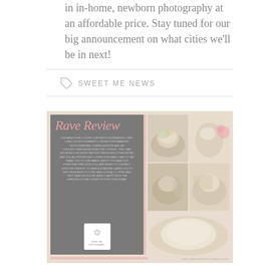in in-home, newborn photography at an affordable price. Stay tuned for our big announcement on what cities we'll be in next!
SWEET ME NEWS
[Figure (photo): A promotional card titled 'Rave Review' in pink cursive script. The card has a gray left panel with small testimonial text and a Sweet Me Photography logo, and a right panel showing a 2x3 photo grid of newborn baby photographs on beige/white backgrounds.]